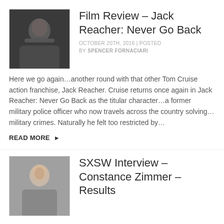[Figure (photo): Thumbnail image of a man in dark clothing, likely a scene from Jack Reacher film]
Film Review – Jack Reacher: Never Go Back
OCTOBER 20TH, 2016 | POSTED BY SPENCER FORNACIARI
Here we go again…another round with that other Tom Cruise action franchise, Jack Reacher. Cruise returns once again in Jack Reacher: Never Go Back as the titular character…a former military police officer who now travels across the country solving… military crimes. Naturally he felt too restricted by…
READ MORE ▶
[Figure (photo): Thumbnail image of a woman smiling, likely Constance Zimmer]
SXSW Interview – Constance Zimmer – Results